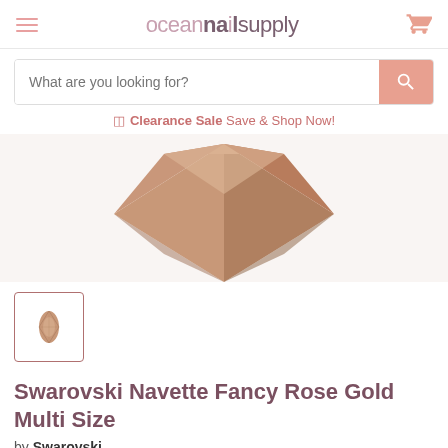oceannailsupply
What are you looking for?
Clearance Sale Save & Shop Now!
[Figure (photo): Close-up of a rose gold Swarovski Navette fancy stone crystal showing its faceted diamond/marquise shape with warm beige-brown hue]
[Figure (photo): Small thumbnail of the Swarovski Navette Fancy Rose Gold crystal in an oval/navette shape]
Swarovski Navette Fancy Rose Gold Multi Size
by Swarovski